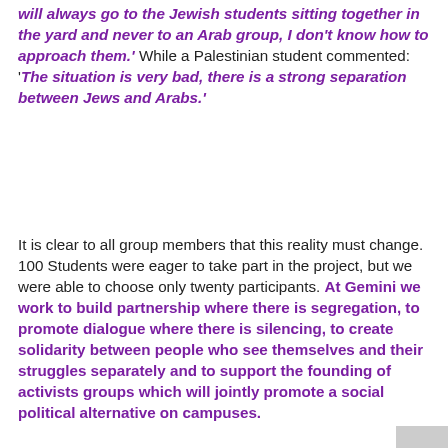will always go to the Jewish students sitting together in the yard and never to an Arab group, I don't know how to approach them.' While a Palestinian student commented: 'The situation is very bad, there is a strong separation between Jews and Arabs.'
It is clear to all group members that this reality must change. 100 Students were eager to take part in the project, but we were able to choose only twenty participants. At Gemini we work to build partnership where there is segregation, to promote dialogue where there is silencing, to create solidarity between people who see themselves and their struggles separately and to support the founding of activists groups which will jointly promote a social political alternative on campuses.